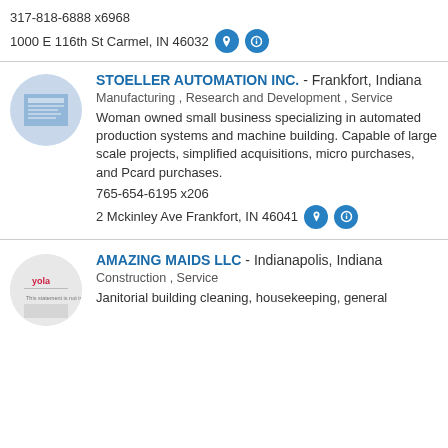317-818-6888 x6968
1000 E 116th St Carmel, IN 46032
STOELLER AUTOMATION INC. - Frankfort, Indiana
Manufacturing , Research and Development , Service
Woman owned small business specializing in automated production systems and machine building. Capable of large scale projects, simplified acquisitions, micro purchases, and Pcard purchases.
765-654-6195 x206
2 Mckinley Ave Frankfort, IN 46041
AMAZING MAIDS LLC - Indianapolis, Indiana
Construction , Service
Janitorial building cleaning, housekeeping, general